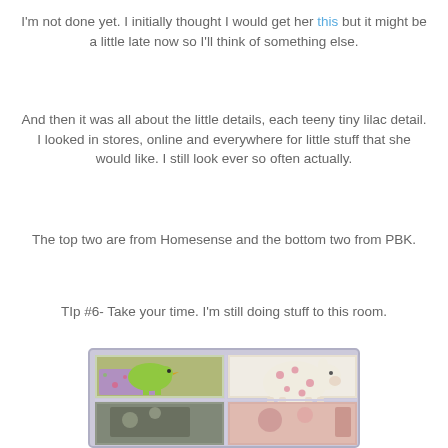I'm not done yet. I initially thought I would get her this but it might be a little late now so I'll think of something else.
And then it was all about the little details, each teeny tiny lilac detail. I looked in stores, online and everywhere for little stuff that she would like. I still look ever so often actually.
The top two are from Homesense and the bottom two from PBK.
TIp #6- Take your time. I'm still doing stuff to this room.
[Figure (photo): A 2x2 photo collage showing four children's room items: top-left is a green bird/rocker toy on a purple box with floral details, top-right is a white ceramic piggy bank with pink polka dots, bottom-left and bottom-right are partially visible items.]